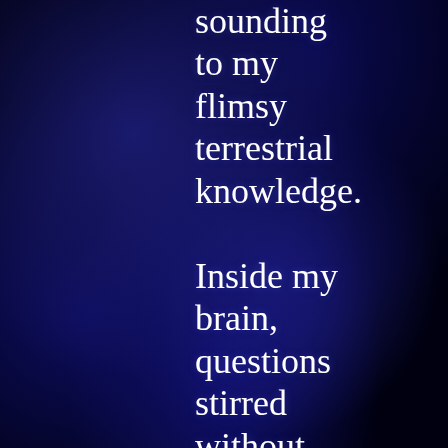sounding to my flimsy terrestrial knowledge. Inside my brain, questions stirred without answers. I was facing one of the greatest opportunities in history and could